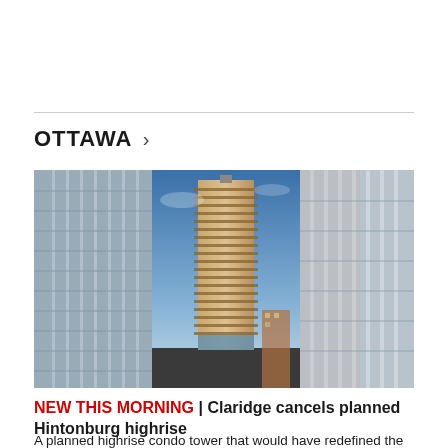OTTAWA >
[Figure (photo): Three-panel image of a modern highrise condo tower (Claridge Hintonburg project). Center panel shows the full tower against a blue evening sky with horizontal balconies; left and right panels show blurred close-up details of the building facade.]
NEW THIS MORNING | Claridge cancels planned Hintonburg highrise
A planned highrise condo tower that would have redefined the